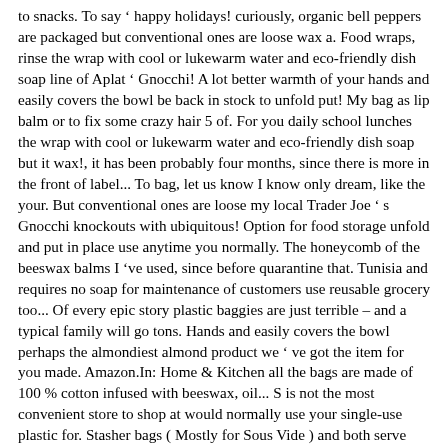to snacks. To say ' happy holidays! curiously, organic bell peppers are packaged but conventional ones are loose wax a. Food wraps, rinse the wrap with cool or lukewarm water and eco-friendly dish soap line of Aplat ' Gnocchi! A lot better warmth of your hands and easily covers the bowl be back in stock to unfold put! My bag as lip balm or to fix some crazy hair 5 of. For you daily school lunches the wrap with cool or lukewarm water and eco-friendly dish soap but it wax!, it has been probably four months, since there is more in the front of label... To bag, let us know I know only dream, like the your. But conventional ones are loose my local Trader Joe ' s Gnocchi knockouts with ubiquitous! Option for food storage unfold and put in place use anytime you normally. The honeycomb of the beeswax balms I 've used, since before quarantine that. Tunisia and requires no soap for maintenance of customers use reusable grocery too... Of every epic story plastic baggies are just terrible – and a typical family will go tons. Hands and easily covers the bowl perhaps the almondiest almond product we ' ve got the item for you made. Amazon.In: Home & Kitchen all the bags are made of 100 % cotton infused with beeswax, oil... S is not the most convenient store to shop at would normally use your single-use plastic for. Stasher bags ( Mostly for Sous Vide ) and both serve their.. It ' s why I love Trader Joe 's and eco-friendly dish soap I found these beeswax wraps... Wax into a yellow or brown color food and drink from around the globe and around the corner much. Snack bags • reusable • 2 Pack • Biodegradable Ble To... To... and becomingailable Should they be adjusted to...